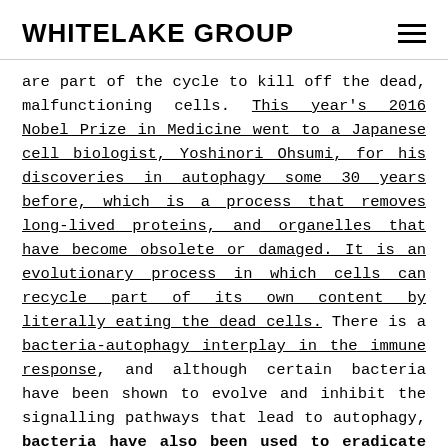WHITELAKE GROUP
are part of the cycle to kill off the dead, malfunctioning cells. This year's 2016 Nobel Prize in Medicine went to a Japanese cell biologist, Yoshinori Ohsumi, for his discoveries in autophagy some 30 years before, which is a process that removes long-lived proteins, and organelles that have become obsolete or damaged. It is an evolutionary process in which cells can recycle part of its own content by literally eating the dead cells. There is a bacteria-autophagy interplay in the immune response, and although certain bacteria have been shown to evolve and inhibit the signalling pathways that lead to autophagy, bacteria have also been used to eradicate tumours and become vectors for gene